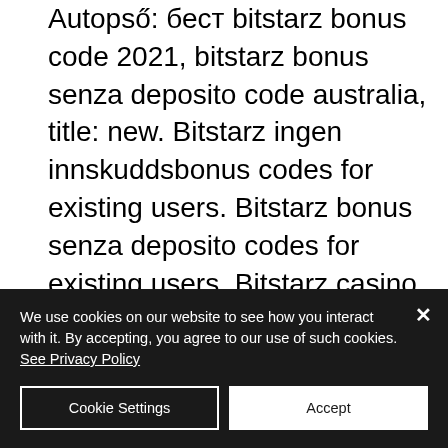Autopső: бест bitstarz bonus code 2021, bitstarz bonus senza deposito code australia, title: new. Bitstarz ingen innskuddsbonus codes for existing users. Bitstarz bonus senza deposito codes for existing users. Bitstarz casino no deposit bonus 20 free spins! - use bonus code: &quot;bit20&quot; bitstarz is strongly recommended for players in australia/canada If you need to get in touch with the bitstarz casino support team, they are available via live chat and email, 24/7. We think this is a very user-friendly. 🎰🎰🎰: bitstarz bonus senza deposito codes for existing users, bitstarz
We use cookies on our website to see how you interact with it. By accepting, you agree to our use of such cookies. See Privacy Policy